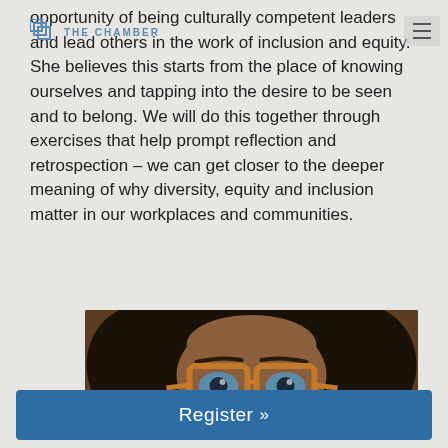THE CHAMBER
opportunity of being culturally competent leaders and lead others in the work of inclusion and equity. She believes this starts from the place of knowing ourselves and tapping into the desire to be seen and to belong. We will do this together through exercises that help prompt reflection and retrospection – we can get closer to the deeper meaning of why diversity, equity and inclusion matter in our workplaces and communities.
[Figure (photo): Close-up photo of a person with curly dark hair wearing large wooden-framed glasses, eyes visible just above the frames]
Register »